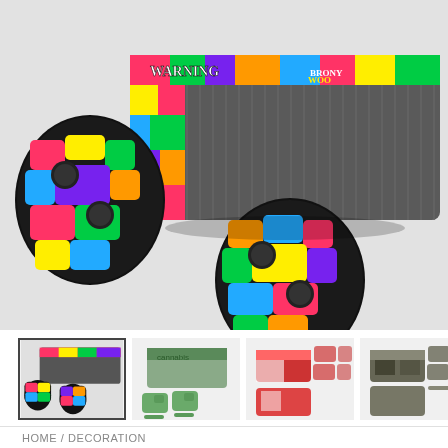[Figure (photo): Xbox One gaming console with two controllers, all covered in a colorful sticker bomb / comic book style skin with bright colors including yellow, green, purple, red, and blue. The console itself has a gray ribbed top. Two wireless controllers are shown in front of the console.]
[Figure (photo): Thumbnail row showing four Xbox One skin kit product images: first is the sticker bomb design (selected, with border), second is a green cannabis leaf design, third is a red and white anime/action design, fourth is a dark military/game character design.]
HOME / DECORATION
Various Designs Xbox One Skin Kits